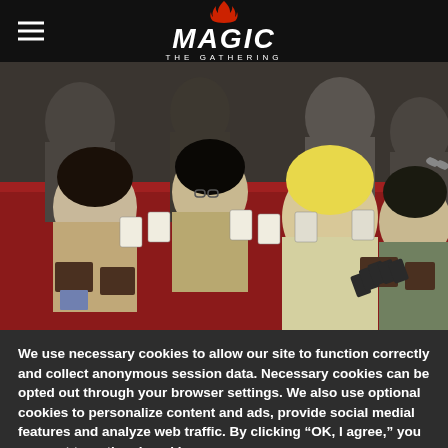Magic: The Gathering
[Figure (photo): People playing Magic: The Gathering card game at a tournament table covered with a red tablecloth, with cards spread out and players holding hands of cards]
We use necessary cookies to allow our site to function correctly and collect anonymous session data. Necessary cookies can be opted out through your browser settings. We also use optional cookies to personalize content and ads, provide social medial features and analyze web traffic. By clicking “OK, I agree,” you consent to optional cookies.
(Learn more about cookies.)